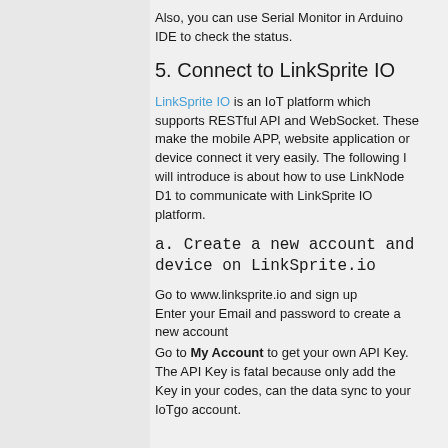Also, you can use Serial Monitor in Arduino IDE to check the status.
5. Connect to LinkSprite IO
LinkSprite IO is an IoT platform which supports RESTful API and WebSocket. These make the mobile APP, website application or device connect it very easily. The following I will introduce is about how to use LinkNode D1 to communicate with LinkSprite IO platform.
a. Create a new account and device on LinkSprite.io
Go to www.linksprite.io and sign up
Enter your Email and password to create a new account
Go to My Account to get your own API Key. The API Key is fatal because only add the Key in your codes, can the data sync to your IoTgo account.